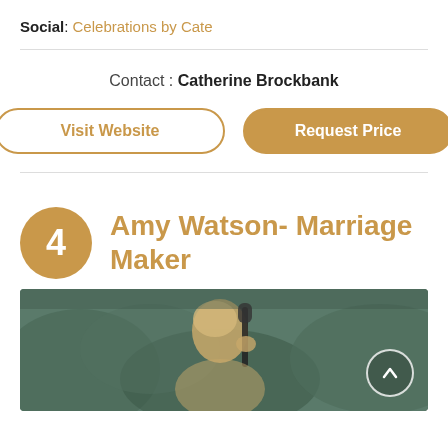Social: Celebrations by Cate
Contact : Catherine Brockbank
Visit Website
Request Price
4 Amy Watson- Marriage Maker
[Figure (photo): Photo of a person at an outdoor event, holding a microphone, with greenery in the background. A scroll-up arrow button is visible in the bottom right corner.]